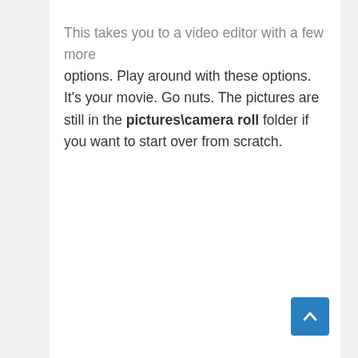This takes you to a video editor with a few more options. Play around with these options. It's your movie. Go nuts. The pictures are still in the pictures\camera roll folder if you want to start over from scratch.
[Figure (other): Back to top button — blue square with upward chevron arrow]